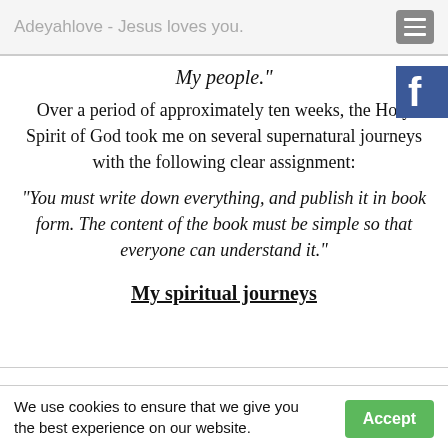Adeyahlove - Jesus loves you.
My people."
Over a period of approximately ten weeks, the Holy Spirit of God took me on several supernatural journeys with the following clear assignment:
"You must write down everything, and publish it in book form. The content of the book must be simple so that everyone can understand it."
My spiritual journeys
We use cookies to ensure that we give you the best experience on our website.